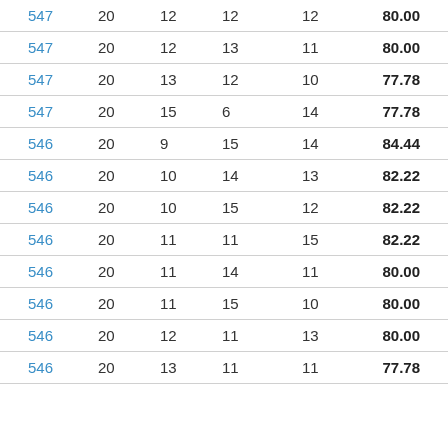| 547 | 20 | 12 | 12 | 12 | 80.00 |
| 547 | 20 | 12 | 13 | 11 | 80.00 |
| 547 | 20 | 13 | 12 | 10 | 77.78 |
| 547 | 20 | 15 | 6 | 14 | 77.78 |
| 546 | 20 | 9 | 15 | 14 | 84.44 |
| 546 | 20 | 10 | 14 | 13 | 82.22 |
| 546 | 20 | 10 | 15 | 12 | 82.22 |
| 546 | 20 | 11 | 11 | 15 | 82.22 |
| 546 | 20 | 11 | 14 | 11 | 80.00 |
| 546 | 20 | 11 | 15 | 10 | 80.00 |
| 546 | 20 | 12 | 11 | 13 | 80.00 |
| 546 | 20 | 13 | 11 | 11 | 77.78 |